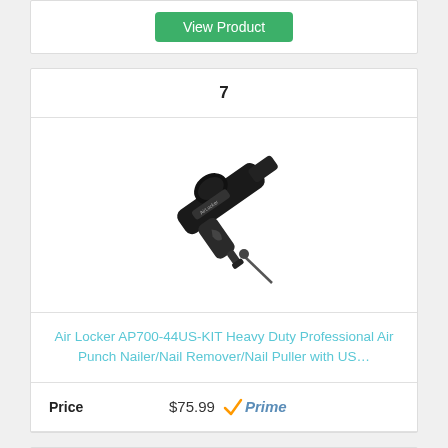[Figure (other): Green 'View Product' button at top (partial card from previous product)]
7
[Figure (photo): Air Locker AP700-44US-KIT Heavy Duty Professional Air Punch Nailer/Nail Remover/Nail Puller tool, black, shown at angle with nail accessory]
Air Locker AP700-44US-KIT Heavy Duty Professional Air Punch Nailer/Nail Remover/Nail Puller with US…
Price  $75.99  ✓Prime
[Figure (other): Green 'View Product' button at bottom (partial, cut off)]